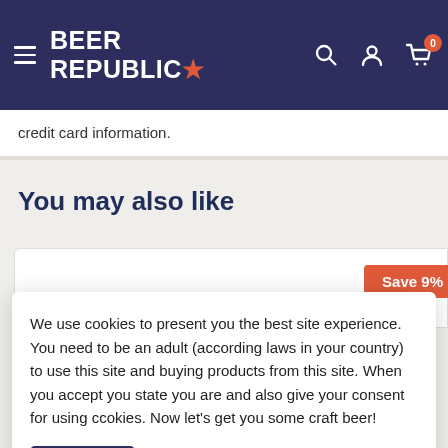Beer Republic
credit card information.
You may also like
Save 9%
We use cookies to present you the best site experience. You need to be an adult (according laws in your country) to use this site and buying products from this site. When you accept you state you are and also give your consent for using cookies. Now let's get you some craft beer!
Got it!